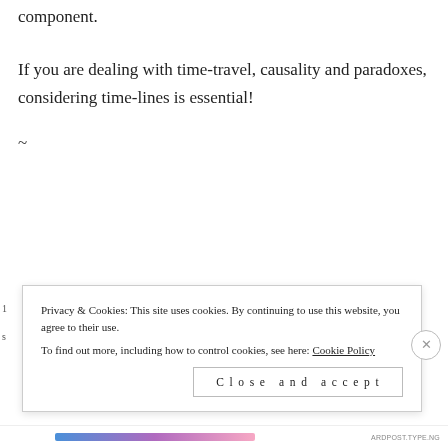component.
If you are dealing with time-travel, causality and paradoxes, considering time-lines is essential!
~
Privacy & Cookies: This site uses cookies. By continuing to use this website, you agree to their use.
To find out more, including how to control cookies, see here: Cookie Policy
Close and accept